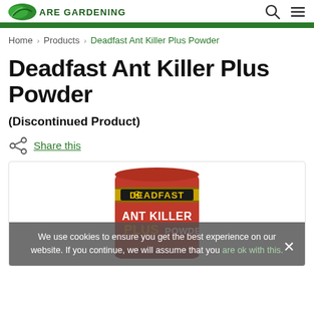ARE GARDENING — logo and navigation bar
Home > Products > Deadfast Ant Killer Plus Powder
Deadfast Ant Killer Plus Powder
(Discontinued Product)
Share this
[Figure (photo): Red tin of Deadfast Ant Killer Plus Powder product, cylindrical container with gold and black DEADFAST logo and white/orange lettering reading ANT KILLER PLUS POWDER. A cookie consent overlay covers the lower portion of the image.]